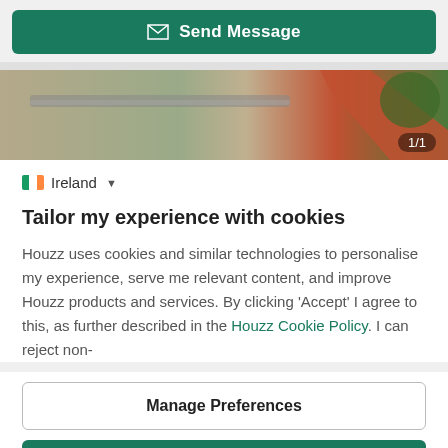[Figure (screenshot): Green 'Send Message' button with envelope icon]
[Figure (photo): Partial photo of a building exterior with roof gutters and a tree, showing badge '1/1' bottom-right]
Ireland
Tailor my experience with cookies
Houzz uses cookies and similar technologies to personalise my experience, serve me relevant content, and improve Houzz products and services. By clicking 'Accept' I agree to this, as further described in the Houzz Cookie Policy. I can reject non-
[Figure (screenshot): Manage Preferences button (outlined)]
[Figure (screenshot): Accept button (green filled)]